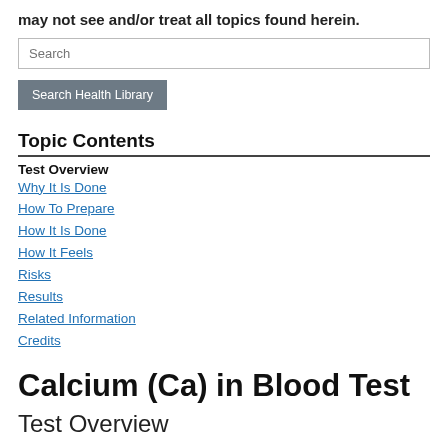may not see and/or treat all topics found herein.
Search
Search Health Library
Topic Contents
Test Overview
Why It Is Done
How To Prepare
How It Is Done
How It Feels
Risks
Results
Related Information
Credits
Calcium (Ca) in Blood Test
Test Overview